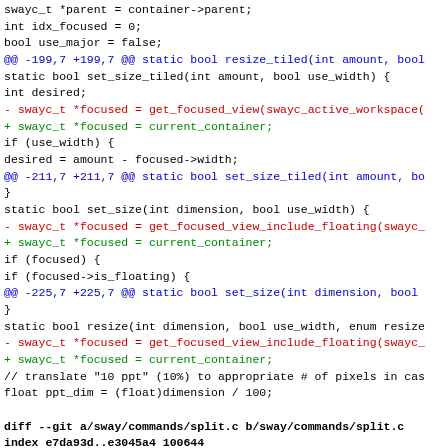Code diff showing changes to sway/commands/resize.c and sway/commands/split.c, replacing get_focused_view calls with current_container.